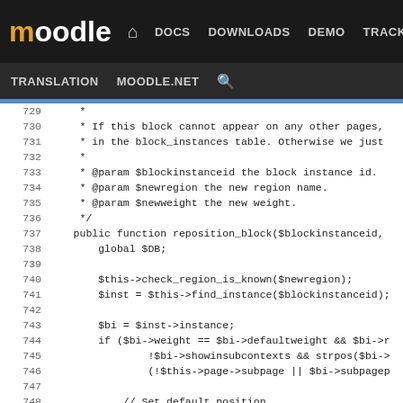[Figure (screenshot): Moodle developer documentation website navigation bar with logo, nav links (DOCS, DOWNLOADS, DEMO, TRACKER, DEV highlighted), and sub-nav (TRANSLATION, MOODLE.NET, search icon)]
Code viewer showing PHP source lines 729-754 of Moodle block manager class, including reposition_block function and related comments
moodle DOCS DOWNLOADS DEMO TRACKER DEV | TRANSLATION MOODLE.NET